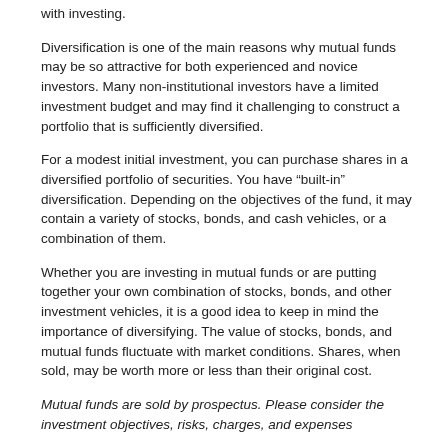with investing.
Diversification is one of the main reasons why mutual funds may be so attractive for both experienced and novice investors. Many non-institutional investors have a limited investment budget and may find it challenging to construct a portfolio that is sufficiently diversified.
For a modest initial investment, you can purchase shares in a diversified portfolio of securities. You have “built-in” diversification. Depending on the objectives of the fund, it may contain a variety of stocks, bonds, and cash vehicles, or a combination of them.
Whether you are investing in mutual funds or are putting together your own combination of stocks, bonds, and other investment vehicles, it is a good idea to keep in mind the importance of diversifying. The value of stocks, bonds, and mutual funds fluctuate with market conditions. Shares, when sold, may be worth more or less than their original cost.
Mutual funds are sold by prospectus. Please consider the investment objectives, risks, charges, and expenses